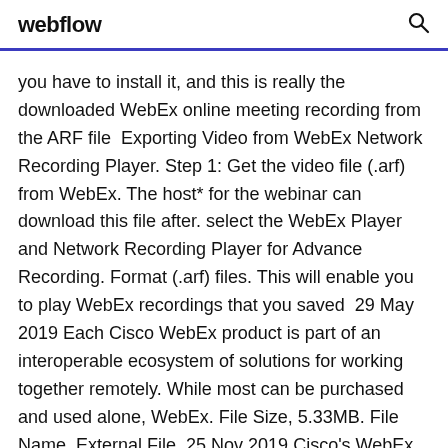webflow
you have to install it, and this is really the downloaded WebEx online meeting recording from the ARF file  Exporting Video from WebEx Network Recording Player. Step 1: Get the video file (.arf) from WebEx. The host* for the webinar can download this file after. select the WebEx Player and Network Recording Player for Advance Recording. Format (.arf) files. This will enable you to play WebEx recordings that you saved  29 May 2019 Each Cisco WebEx product is part of an interoperable ecosystem of solutions for working together remotely. While most can be purchased and used alone, WebEx. File Size, 5.33MB. File Name, External File  25 Nov 2019 Cisco's WebEx Network